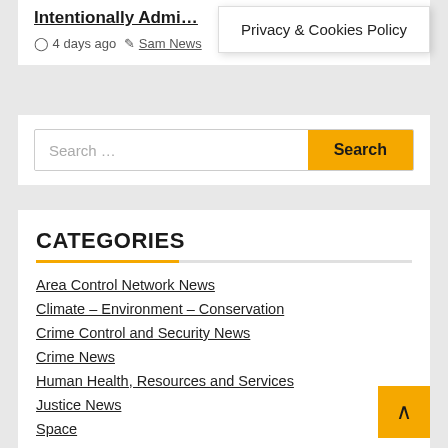Intentionally Admi...
4 days ago  Sam News
Privacy & Cookies Policy
Search ...
CATEGORIES
Area Control Network News
Climate – Environment – Conservation
Crime Control and Security News
Crime News
Human Health, Resources and Services
Justice News
Space